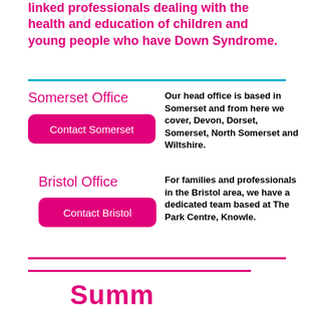linked professionals dealing with the health and education of children and young people who have Down Syndrome.
Somerset Office
Contact Somerset
Our head office is based in Somerset and from here we cover, Devon, Dorset, Somerset, North Somerset and Wiltshire.
Bristol Office
Contact Bristol
For families and professionals in the Bristol area, we have a dedicated team based at The Park Centre, Knowle.
Summ...